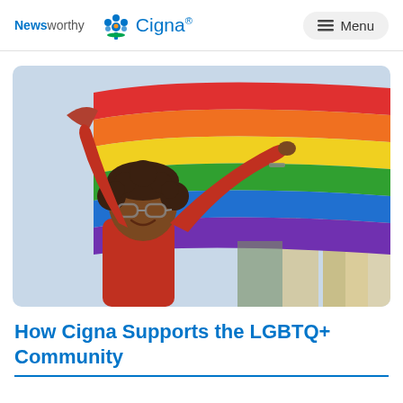Newsworthy | Cigna® | Menu
[Figure (photo): A smiling young woman with curly hair and glasses wearing a red top, holding a rainbow pride flag overhead with both arms raised, with buildings in the blurred background.]
How Cigna Supports the LGBTQ+ Community